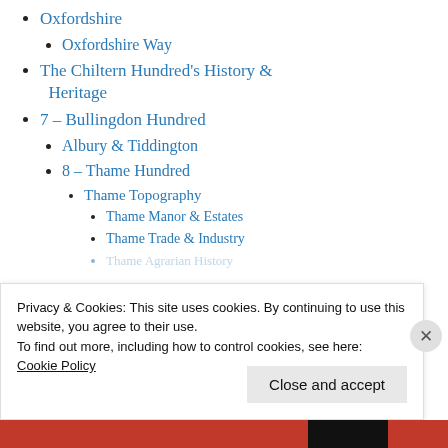Oxfordshire
Oxfordshire Way
The Chiltern Hundred's History & Heritage
7 – Bullingdon Hundred
Albury & Tiddington
8 – Thame Hundred
Thame Topography
Thame Manor & Estates
Thame Trade & Industry
Thame Agrarian History
Privacy & Cookies: This site uses cookies. By continuing to use this website, you agree to their use.
To find out more, including how to control cookies, see here:
Cookie Policy
Close and accept